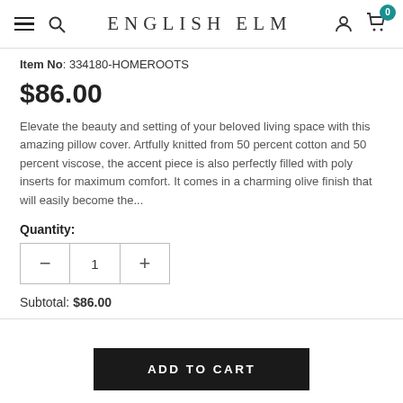ENGLISH ELM
Item No:  334180-HOMEROOTS
$86.00
Elevate the beauty and setting of your beloved living space with this amazing pillow cover. Artfully knitted from 50 percent cotton and 50 percent viscose, the accent piece is also perfectly filled with poly inserts for maximum comfort. It comes in a charming olive finish that will easily become the...
Quantity:
Subtotal:  $86.00
ADD TO CART